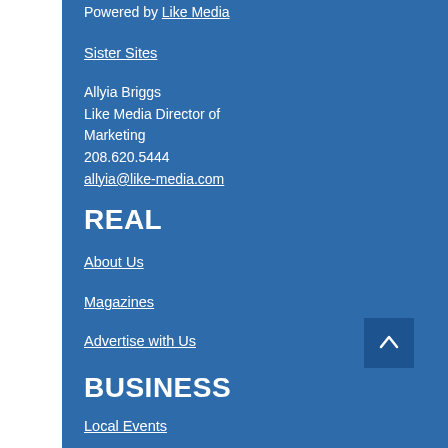Powered by Like Media
Sister Sites
Allyia Briggs
Like Media Director of Marketing
208.620.5444
allyia@like-media.com
REAL
About Us
Magazines
Advertise with Us
BUSINESS
Local Events
Directory